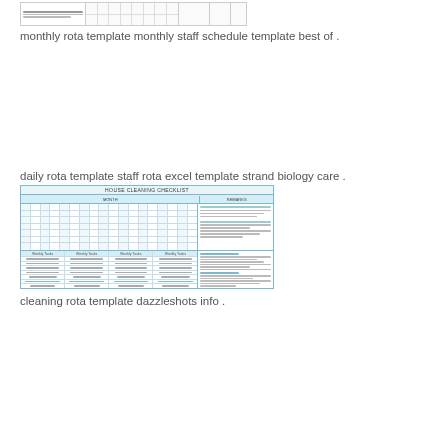[Figure (table-as-image): Thumbnail of a monthly rota / staff schedule spreadsheet with multiple columns and rows]
monthly rota template monthly staff schedule template best of .
[Figure (table-as-image): Thumbnail of a house cleaning checklist spreadsheet with a grid for tasks and columns for tracking, styled with blue headers]
cleaning rota template dazzleshots info .